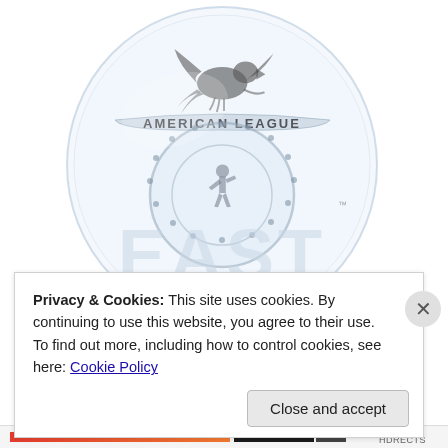[Figure (photo): A glass trophy award featuring the American League logo with an eagle at top, the text 'AMERICAN LEAGUE' on a banner, a horseshoe shape below, and 'EAST' etched in large letters. The circular glass disc sits on a clear cylindrical base on a dark wooden/black square base.]
Privacy & Cookies: This site uses cookies. By continuing to use this website, you agree to their use.
To find out more, including how to control cookies, see here: Cookie Policy